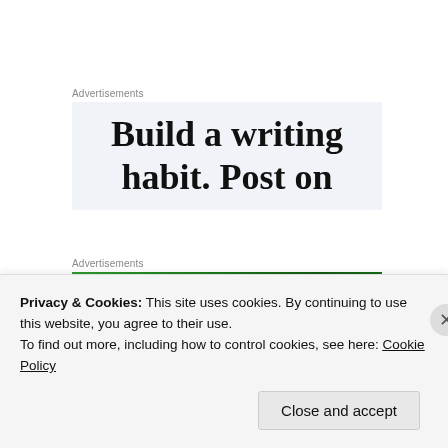Advertisements
[Figure (other): Advertisement banner with large serif text reading 'Build a writing habit. Post on' on a light gray-blue background]
Advertisements
[Figure (other): Advertisement banner with green background and dot pattern]
Privacy & Cookies: This site uses cookies. By continuing to use this website, you agree to their use.
To find out more, including how to control cookies, see here: Cookie Policy
Close and accept